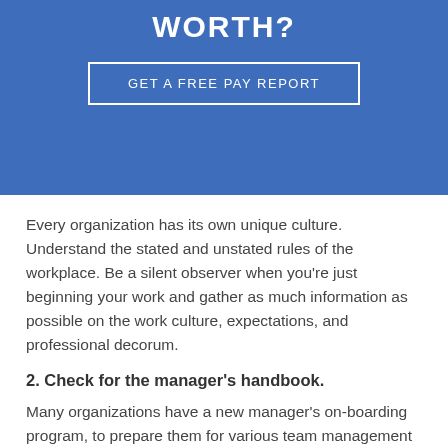[Figure (other): Blue banner with 'WORTH?' title and 'GET A FREE PAY REPORT' button]
Every organization has its own unique culture. Understand the stated and unstated rules of the workplace. Be a silent observer when you're just beginning your work and gather as much information as possible on the work culture, expectations, and professional decorum.
2. Check for the manager's handbook.
Many organizations have a new manager's on-boarding program, to prepare them for various team management challenges and ongoing responsibilities. They may also have a manager's handbook with tips and explanations on policies, processes, etc. If your organization offers this, don't miss this opportunity. Your HR business partner could be a